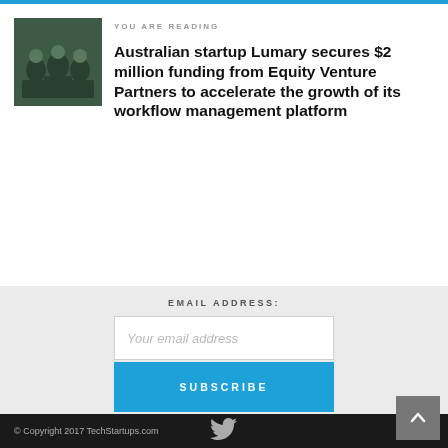YOU ARE READING
Australian startup Lumary secures $2 million funding from Equity Venture Partners to accelerate the growth of its workflow management platform
EMAIL ADDRESS:
Your email address
SUBSCRIBE
- Advertisement -
© Copyright 2017 TechStartups.com